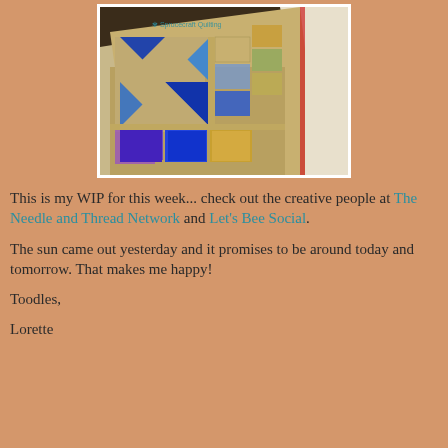[Figure (photo): A quilt with blue and tan/gold pinwheel and patchwork pattern photographed at an angle on a table, with a watermark 'The Sprucecraft Quilting' visible.]
This is my WIP for this week... check out the creative people at The Needle and Thread Network and Let's Bee Social.
The sun came out yesterday and it promises to be around today and tomorrow. That makes me happy!
Toodles,
Lorette